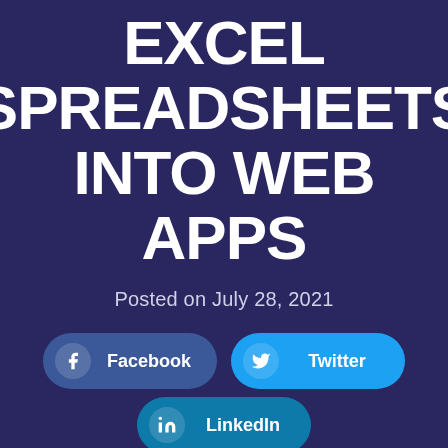EXCEL SPREADSHEETS INTO WEB APPS
Posted on July 28, 2021
[Figure (infographic): Social share buttons: Facebook, Twitter, LinkedIn on dark navy background]